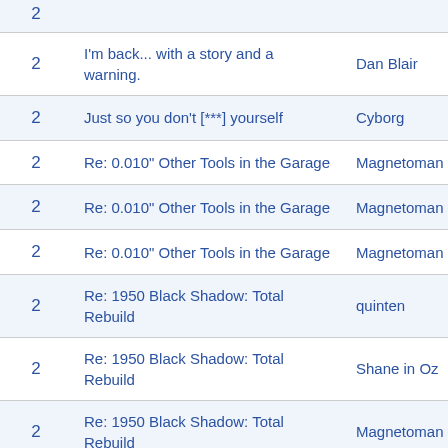|  | Title | Author |
| --- | --- | --- |
| 2 | I'm back... with a story and a warning. | Dan Blair |
| 2 | Just so you don't [***] yourself | Cyborg |
| 2 | Re: 0.010" Other Tools in the Garage | Magnetoman |
| 2 | Re: 0.010" Other Tools in the Garage | Magnetoman |
| 2 | Re: 0.010" Other Tools in the Garage | Magnetoman |
| 2 | Re: 1950 Black Shadow: Total Rebuild | quinten |
| 2 | Re: 1950 Black Shadow: Total Rebuild | Shane in Oz |
| 2 | Re: 1950 Black Shadow: Total Rebuild | Magnetoman |
| 2 | Re: 1950 Black Shadow: Total Rebuild | Magnetoman |